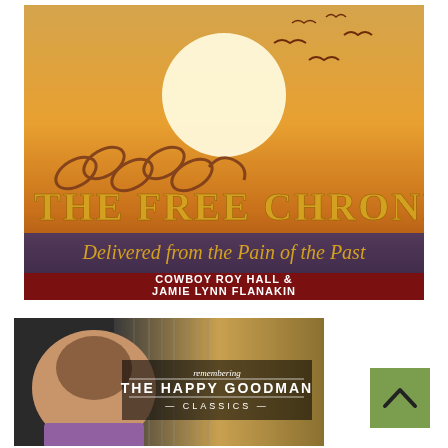[Figure (illustration): Book cover: 'The Free Chronicles – Delivered from the Pain of the Past' by Cowboy Roy Hall & Jamie Lynn Flanakin. Orange/sunset background with a broken chain and birds flying, purple banner with italic subtitle text, dark red banner with authors' names in white bold text.]
[Figure (illustration): Album cover: 'Remembering The Happy Goodman Classics' – smiling man in foreground with piano strings visible in background.]
[Figure (other): Green back-to-top button with an upward chevron arrow.]